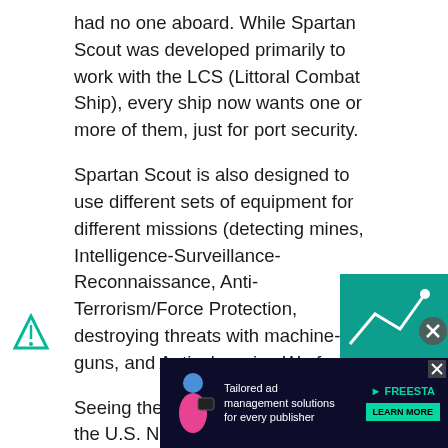had no one aboard. While Spartan Scout was developed primarily to work with the LCS (Littoral Combat Ship), every ship now wants one or more of them, just for port security.
Spartan Scout is also designed to use different sets of equipment for different missions (detecting mines, Intelligence-Surveillance-Reconnaissance, Anti-Terrorism/Force Protection, destroying threats with machine-guns, and Antisubmarine Warfare).
Seeing the need for a larger USV, the U.S. Navy has developed a new USV to be carried and used by surface ships or even submarines for anti-submarine warfare. Officially called the Fleet class Anti-Submarine Warfare Unmanned Surface Vehicle (ASWUSV), the 12.5 meter (39 foot) long boat... sens...
[Figure (other): Advertisement banner: Tailored ad management solutions for every publisher - Freesta. Partially overlapping content at bottom of page.]